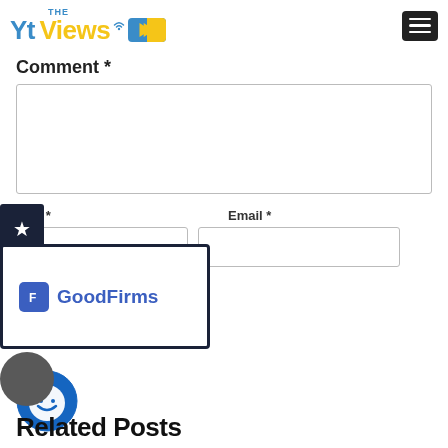THE Yt Views [logo]
Comment *
[Comment textarea field]
ame * [Name input field]   Email * [Email input field]
[Figure (logo): GoodFirms logo with blue icon and text on dark bordered white card]
st Comment [Post Comment button]
[Figure (illustration): Blue circle with white smiley face icon]
Related Posts